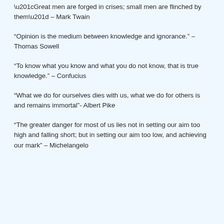“Great men are forged in crises; small men are flinched by them” – Mark Twain
“Opinion is the medium between knowledge and ignorance.” – Thomas Sowell
“To know what you know and what you do not know, that is true knowledge.” – Confucius
“What we do for ourselves dies with us, what we do for others is and remains immortal”- Albert Pike
“The greater danger for most of us lies not in setting our aim too high and falling short; but in setting our aim too low, and achieving our mark” – Michelangelo